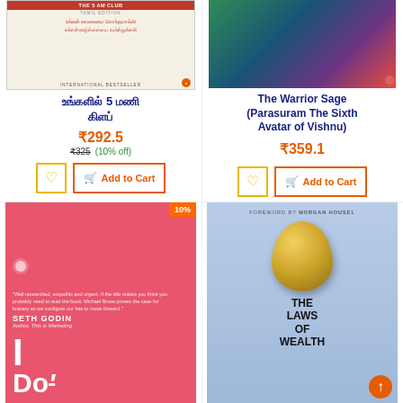[Figure (photo): Book cover: The 5 AM Club Tamil Edition]
உங்களில் 5 மணி கிளப்
₹292.5
₹325 (10% off)
Add to Cart
[Figure (photo): Book cover: The Warrior Sage (Parasuram The Sixth Avatar of Vishnu)]
The Warrior Sage (Parasuram The Sixth Avatar of Vishnu)
₹359.1
Add to Cart
[Figure (photo): Book cover: I Don't (Seth Godin) with 10% badge]
[Figure (photo): Book cover: The Laws of Wealth (Foreword by Morgan Housel)]